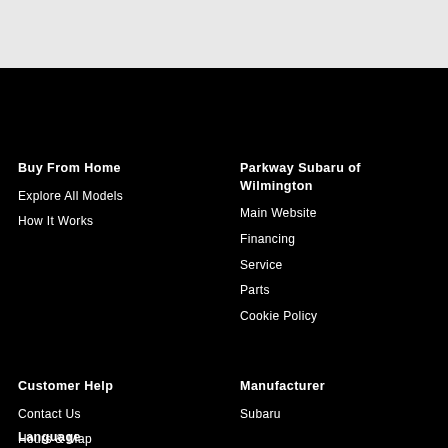Buy From Home
Explore All Models
How It Works
Parkway Subaru of Wilmington
Main Website
Financing
Service
Parts
Cookie Policy
Customer Help
Contact Us
Hours & Map
About
Privacy
Manufacturer
Subaru
Language